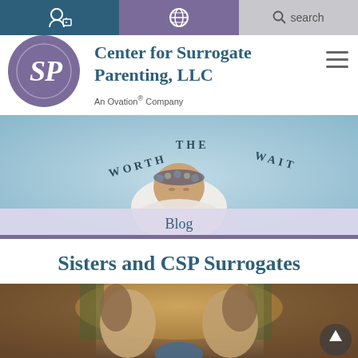[Figure (screenshot): Navigation bar with three cells: account/lock icon on dark teal, globe icon on purple, and search bar on gray]
[Figure (logo): Center for Surrogate Parenting LLC logo - purple circle with SP initials]
Center for Surrogate Parenting, LLC
An Ovation® Company
[Figure (photo): Newborn baby sleeping on light blue surface with text 'WORTH THE WAIT' arranged in an arc above]
Blog
Sisters and CSP Surrogates
[Figure (photo): Two women with long flowing hair outdoors among trees with warm autumn light]